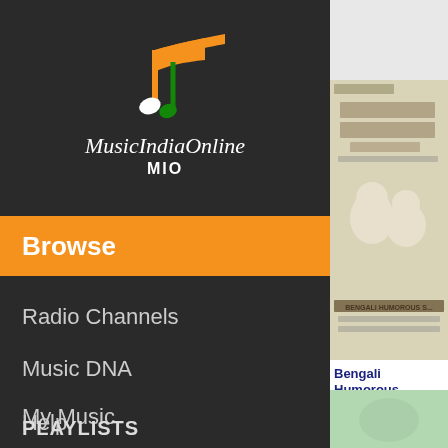[Figure (logo): MusicIndiaOnline logo with musical note icon in orange, white, and green colors, with cursive text 'MusicIndiaOnline' and 'MIO' below]
Browse
Radio Channels
Music DNA
My Music
Help
PLAYLISTS
[Figure (photo): Album cover for Bengali Humorous collection showing illustrated caricatures of comedians, beige/cream background with Bengali text and 'BENGALI HUMOROUS' text at bottom]
Bengali Humorous
Artists: Apurba Chatte Deepa Saha, Priti Cho Subhash Saha, Subod Roychowdhury